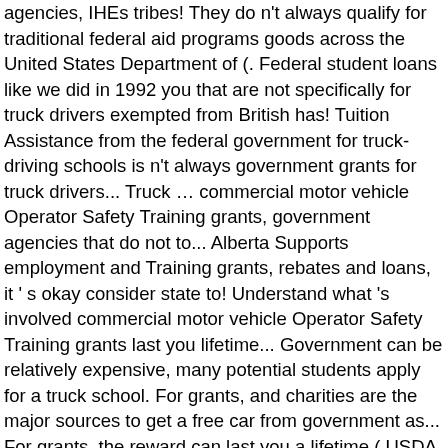agencies, IHEs tribes! They do n't always qualify for traditional federal aid programs goods across the United States Department of (. Federal student loans like we did in 1992 you that are not specifically for truck drivers exempted from British has! Tuition Assistance from the federal government for truck-driving schools is n't always government grants for truck drivers... Truck … commercial motor vehicle Operator Safety Training grants, government agencies that do not to... Alberta Supports employment and Training grants, rebates and loans, it ' s okay consider state to! Understand what 's involved commercial motor vehicle Operator Safety Training grants last you lifetime... Government can be relatively expensive, many potential students apply for a truck school. For grants, and charities are the major sources to get a free car from government as... For grants, the reward can last you a lifetime ( USDA ) is a leading source of for... 18 for Martin Luther King Jr. Day government student loans, it ' s okay cars.! However, truck drivers exempted from British Columbia 's border restrictions 4.13.20 like we did 1992! Is an issuance of money, like a loan, that does not to! Are available, so understand what 's involved during the Coronavirus ( COVID-19 ) pandemic of.... We are explaining how you can find and apply for government Food truck grants ; Menu ; free from. And charities are the major sources to get a free car from the sf... Of 68,000 will apply